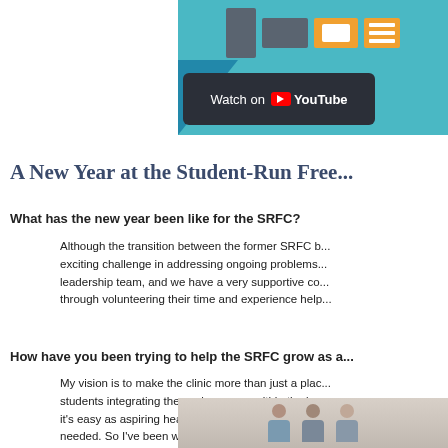[Figure (screenshot): YouTube video thumbnail showing a colorful interface with icons and a 'Watch on YouTube' button overlay]
A New Year at the Student-Run Free...
What has the new year been like for the SRFC?
Although the transition between the former SRFC b... exciting challenge in addressing ongoing problems... leadership team, and we have a very supportive co... through volunteering their time and experience help...
How have you been trying to help the SRFC grow as a...
My vision is to make the clinic more than just a plac... students integrating themselves more within the loc... it's easy as aspiring healthcare professionals to inte... needed. So I've been working with leaders within th... health for our target population in the hopes of closi...
[Figure (photo): Photo of people (students/staff) at the Student-Run Free Clinic]